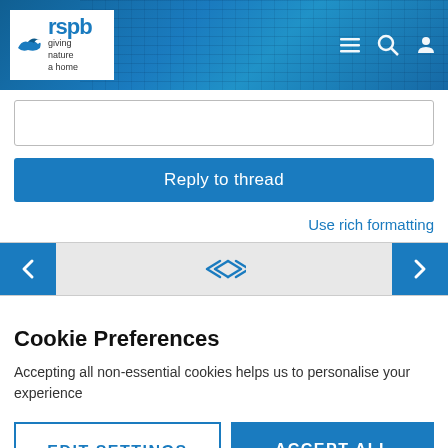[Figure (screenshot): RSPB website header with logo showing bird silhouette and 'rspb giving nature a home' text, with navigation icons (hamburger menu, search, user) on blue textured background]
[Figure (screenshot): Text input area (reply box) with border]
Reply to thread
Use rich formatting
[Figure (screenshot): Pagination navigation row with left arrow button, double left/right arrows in center, and right arrow button]
Cookie Preferences
Accepting all non-essential cookies helps us to personalise your experience
EDIT SETTINGS
ACCEPT ALL